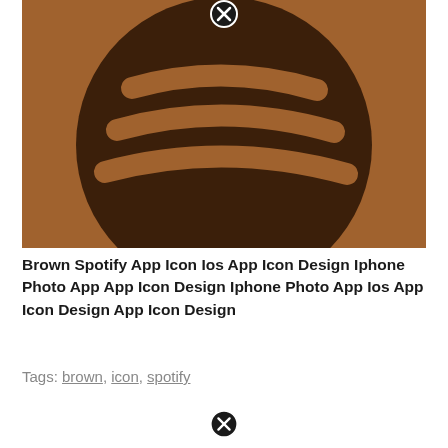[Figure (illustration): Brown Spotify app icon on brown background — a dark brown circle with three curved sound-wave stripe shapes in brownish tones, and a white-outlined close (X) button icon in the top center area of the image.]
Brown Spotify App Icon Ios App Icon Design Iphone Photo App App Icon Design Iphone Photo App Ios App Icon Design App Icon Design
Tags: brown, icon, spotify